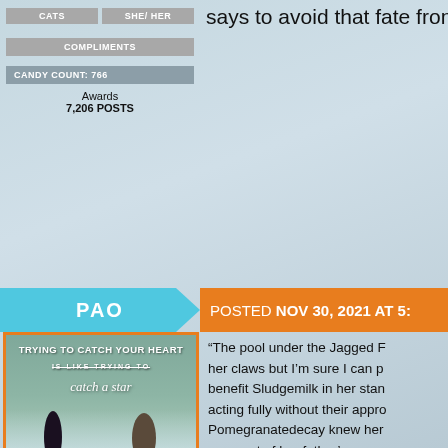CATS | SHE/HER
COMPLIMENTS
CANDY COUNT: 766
Awards
7,206 POSTS
PAO
POSTED NOV 30, 2021 AT 5:
[Figure (illustration): Anime-style illustration with text 'TRYING TO CATCH YOUR HEART IS LIKE TRYING TO catch a star' showing two figures on a hill with clouds]
“The pool under the Jagged F... her claws but I’m sure I can p... benefit Sludgemilk in her stan... acting fully without their appro... Pomegranatedecay knew her... as a part of her father’s reque... to her fur and necklace for the... me, won’t you?” It was less a... her. The she cat raised an eye... disposing of a whole nest of p... wedding would still get the...
says to avoid that fate from ha...
REGISTERED USER
HE/HER
COMPLIMENTS
CANDY COUNT: 258
WinterClan Leader - Wintrystar